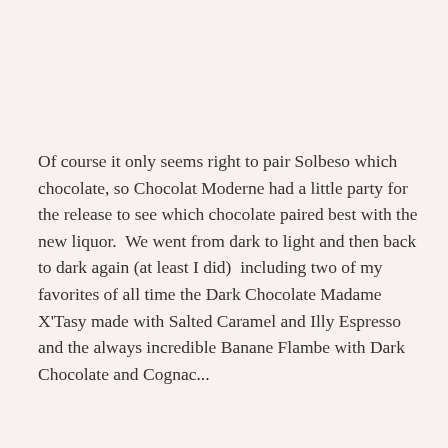Of course it only seems right to pair Solbeso which chocolate, so Chocolat Moderne had a little party for the release to see which chocolate paired best with the new liquor.  We went from dark to light and then back to dark again (at least I did)  including two of my favorites of all time the Dark Chocolate Madame X'Tasy made with Salted Caramel and Illy Espresso and the always incredible Banane Flambe with Dark Chocolate and Cognac...